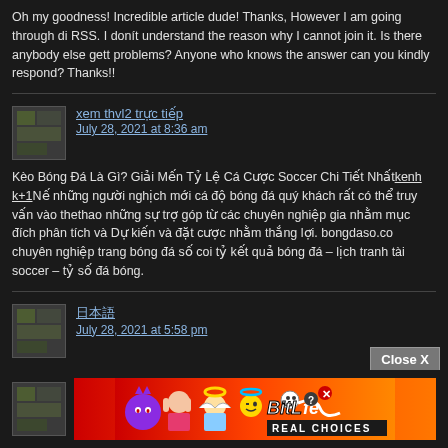Oh my goodness! Incredible article dude! Thanks, However I am going through difficulties with your RSS. I donít understand the reason why I cannot join it. Is there anybody else getting similar problems? Anyone who knows the answer can you kindly respond? Thanks!!
xem thvl2 trực tiếp
July 28, 2021 at 8:36 am
Kèo Bóng Đá Là Gì? Giải Mến Tỷ Lệ Cá Cược Soccer Chi Tiết Nhấtkenh k+1Nếu những người nghịch mới cá độ bóng đá quý khách rất có thể truy vấn vào thethao… những sự trợ góp từ các chuyên nghiệp gia nhằm mục đích phân tích và Dự kiến và đặt cược nhằm thắng lợi. bongdaso.co chuyên nghiệp trang bóng đá số coi tỷ kết quả bóng đá – lịch tranh tài soccer – tỷ số đá bóng.
日本語
July 28, 2021 at 5:58 pm
I really like reading through a post that can make men and women think. Also, tha me to comment!
[Figure (infographic): BitLife Real Choices advertisement banner with cartoon characters]